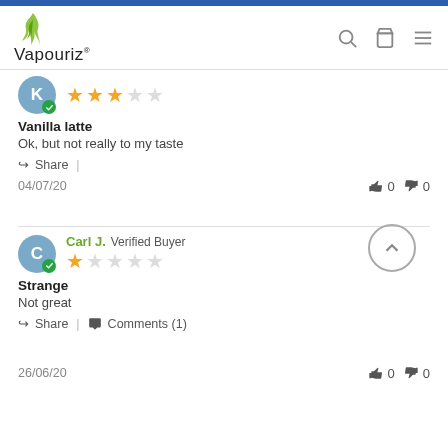Vapouriz
Vanilla latte
Ok, but not really to my taste
Share
04/07/20
👍 0 👎 0
Carl J. Verified Buyer
Strange
Not great
Share | Comments (1)
26/06/20
👍 0 👎 0